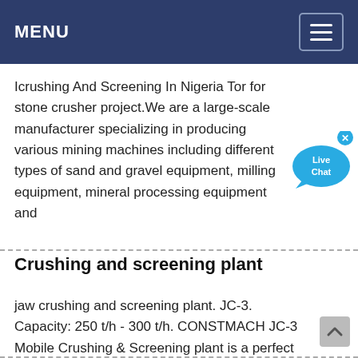MENU
Icrushing And Screening In Nigeria Tor for stone crusher project.We are a large-scale manufacturer specializing in producing various mining machines including different types of sand and gravel equipment, milling equipment, mineral processing equipment and
[Figure (illustration): Live Chat bubble widget with close X button in blue]
Crushing and screening plant
jaw crushing and screening plant. JC-3. Capacity: 250 t/h - 300 t/h. CONSTMACH JC-3 Mobile Crushing & Screening plant is a perfect solution for crushing and screening very hard rocks with high abrasiveness and Silica (SiO2) ... Compare this product Remove …